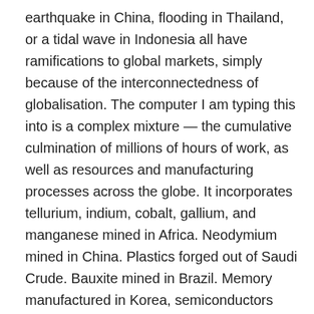earthquake in China, flooding in Thailand, or a tidal wave in Indonesia all have ramifications to global markets, simply because of the interconnectedness of globalisation. The computer I am typing this into is a complex mixture — the cumulative culmination of millions of hours of work, as well as resources and manufacturing processes across the globe. It incorporates tellurium, indium, cobalt, gallium, and manganese mined in Africa. Neodymium mined in China. Plastics forged out of Saudi Crude. Bauxite mined in Brazil. Memory manufactured in Korea, semiconductors forged in Germany, glass made in the United States. And gallons and gallons of oil to ship all the resources and components around the world, 'til they are finally assembled in China, and shipped once again around the world to the consumer. And that manufacturing process stands upon the shoulders of centuries of scientific